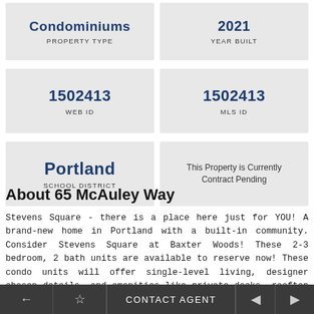Condominiums
PROPERTY TYPE
2021
YEAR BUILT
1502413
WEB ID
1502413
MLS ID
Portland
SCHOOL DISTRICT
This Property is Currently Contract Pending
About 65 McAuley Way
Stevens Square - there is a place here just for YOU! A brand-new home in Portland with a built-in community. Consider Stevens Square at Baxter Woods! These 2-3 bedroom, 2 bath units are available to reserve now! These condo units will offer single-level living, designer chosen details, and amenities like private decks, rooftop community deck, community room, undercover parking, neighboring preserved woodland, a famous memorial park, and a
← ☆ CONTACT AGENT ◄ ►